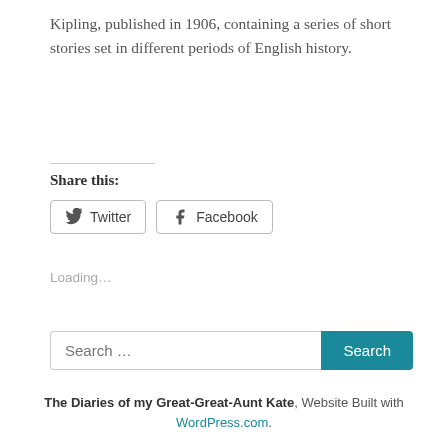Kipling, published in 1906, containing a series of short stories set in different periods of English history.
Share this:
[Figure (other): Twitter and Facebook share buttons]
Loading…
[Figure (other): Search input field with Search button]
The Diaries of my Great-Great-Aunt Kate, Website Built with WordPress.com.